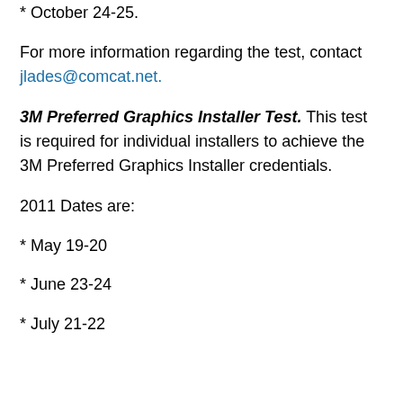* October 24-25.
For more information regarding the test, contact jlades@comcat.net.
3M Preferred Graphics Installer Test. This test is required for individual installers to achieve the 3M Preferred Graphics Installer credentials.
2011 Dates are:
* May 19-20
* June 23-24
* July 21-22